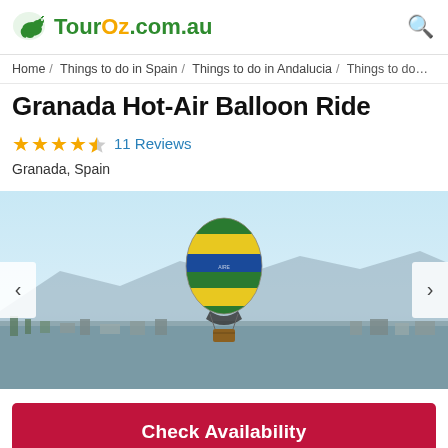TourOz.com.au
Home / Things to do in Spain / Things to do in Andalucia / Things to do...
Granada Hot-Air Balloon Ride
★★★★½  11 Reviews
Granada, Spain
[Figure (photo): A colorful hot-air balloon with yellow, green, and blue stripes floating over a panoramic aerial view of Granada, Spain, with mountains in the background and a clear blue sky.]
Check Availability